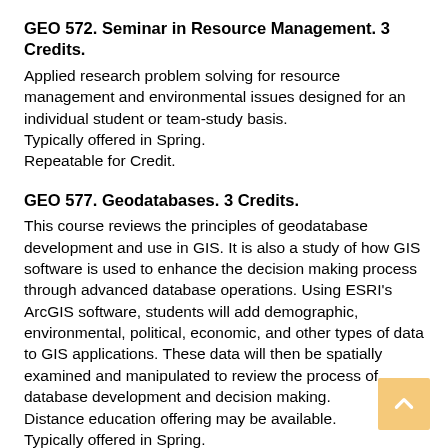GEO 572. Seminar in Resource Management. 3 Credits.
Applied research problem solving for resource management and environmental issues designed for an individual student or team-study basis.
Typically offered in Spring.
Repeatable for Credit.
GEO 577. Geodatabases. 3 Credits.
This course reviews the principles of geodatabase development and use in GIS. It is also a study of how GIS software is used to enhance the decision making process through advanced database operations. Using ESRI's ArcGIS software, students will add demographic, environmental, political, economic, and other types of data to GIS applications. These data will then be spatially examined and manipulated to review the process of database development and decision making.
Distance education offering may be available.
Typically offered in Spring.